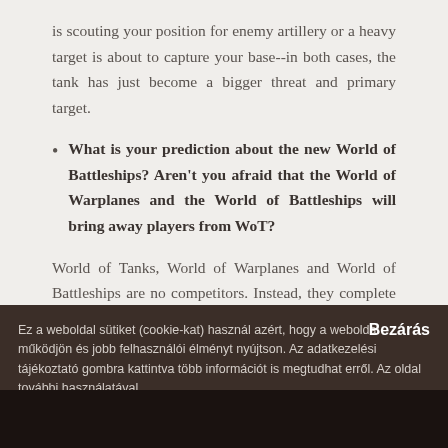is scouting your position for enemy artillery or a heavy target is about to capture your base--in both cases, the tank has just become a bigger threat and primary target.
What is your prediction about the new World of Battleships? Aren't you afraid that the World of Warplanes and the World of Battleships will bring away players from WoT?
World of Tanks, World of Warplanes and World of Battleships are no competitors. Instead, they complete each other to provide maximum holistic and rounded military
Ez a weboldal sütiket (cookie-kat) használ azért, hogy a weboldal működjön és jobb felhasználói élményt nyújtson. Az adatkezelési tájékoztató gombra kattintva több információt is megtudhat erről. Az oldal további használatával